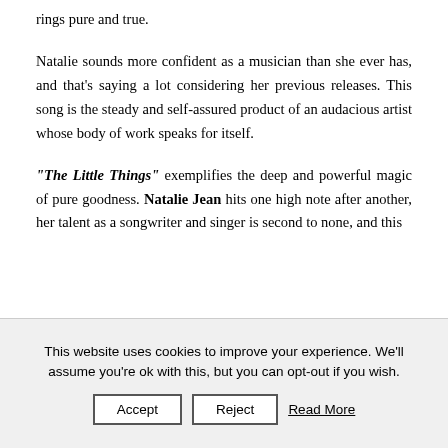rings pure and true.
Natalie sounds more confident as a musician than she ever has, and that's saying a lot considering her previous releases. This song is the steady and self-assured product of an audacious artist whose body of work speaks for itself.
"The Little Things" exemplifies the deep and powerful magic of pure goodness. Natalie Jean hits one high note after another, her talent as a songwriter and singer is second to none, and this
This website uses cookies to improve your experience. We'll assume you're ok with this, but you can opt-out if you wish. Accept Reject Read More